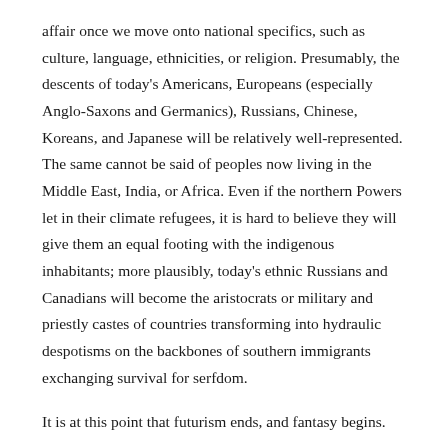affair once we move onto national specifics, such as culture, language, ethnicities, or religion. Presumably, the descents of today's Americans, Europeans (especially Anglo-Saxons and Germanics), Russians, Chinese, Koreans, and Japanese will be relatively well-represented. The same cannot be said of peoples now living in the Middle East, India, or Africa. Even if the northern Powers let in their climate refugees, it is hard to believe they will give them an equal footing with the indigenous inhabitants; more plausibly, today's ethnic Russians and Canadians will become the aristocrats or military and priestly castes of countries transforming into hydraulic despotisms on the backbones of southern immigrants exchanging survival for serfdom.
It is at this point that futurism ends, and fantasy begins.
If you liked this article, you might also